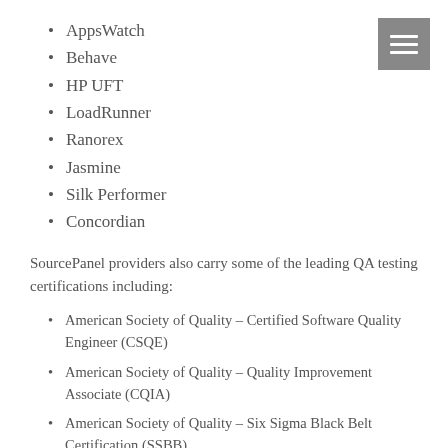AppsWatch
Behave
HP UFT
LoadRunner
Ranorex
Jasmine
Silk Performer
Concordian
SourcePanel providers also carry some of the leading QA testing certifications including:
American Society of Quality – Certified Software Quality Engineer (CSQE)
American Society of Quality – Quality Improvement Associate (CQIA)
American Society of Quality – Six Sigma Black Belt Certification (SSBB)
International Software Quality Institute – ISTQB Certified